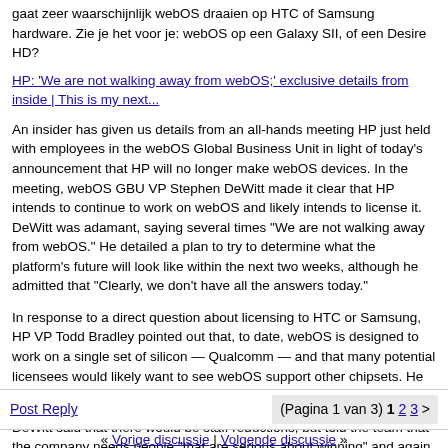gaat zeer waarschijnlijk webOS draaien op HTC of Samsung hardware. Zie je het voor je: webOS op een Galaxy SII, of een Desire HD?
HP: 'We are not walking away from webOS;' exclusive details from inside | This is my next...
An insider has given us details from an all-hands meeting HP just held with employees in the webOS Global Business Unit in light of today's announcement that HP will no longer make webOS devices. In the meeting, webOS GBU VP Stephen DeWitt made it clear that HP intends to continue to work on webOS and likely intends to license it. DeWitt was adamant, saying several times "We are not walking away from webOS." He detailed a plan to try to determine what the platform's future will look like within the next two weeks, although he admitted that "Clearly, we don't have all the answers today."
In response to a direct question about licensing to HTC or Samsung, HP VP Todd Bradley pointed out that, to date, webOS is designed to work on a single set of silicon — Qualcomm — and that many potential licensees would likely want to see webOS support other chipsets. He did not elaborate further on potential partners.
DeWitt said that there would be staff reductions, but told the team that the company needs people "that are serious about winning" and again reiterated HP's commitment to developing webOS as a platform. Both DeWitt and Bradley were clear that the current business model of webOS wasn't working primarily due to lackluster hardware, arguing that HP needed to stop "trying to force non-competitive products into the market."
In short, it looks like HP is committed to finding a partner or partners to license webOS. It's not clear how the company will shuffle the division around given that it currently sits within the Personal Systems Group, which is slated to be spun off.
Post Reply
(Pagina 1 van 3) 1 2 3 >
« Vorige discussie | Volgende discussie »